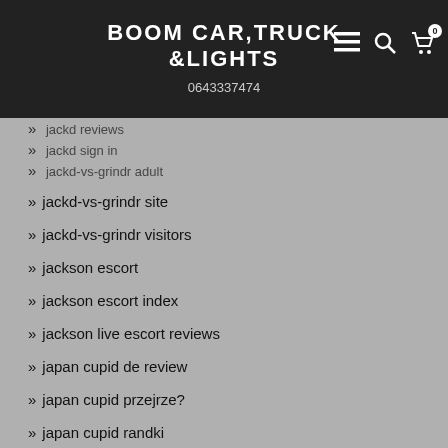BOOM CAR,TRUCK &LIGHTS
0643337474
jackd reviews
jackd sign in
jackd-vs-grindr adult
jackd-vs-grindr site
jackd-vs-grindr visitors
jackson escort
jackson escort index
jackson live escort reviews
japan cupid de review
japan cupid przejrze?
japan cupid randki
japan cupid review
japan cupid sign in
Japan Cupid Zapisz sie
japan-chat-rooms review